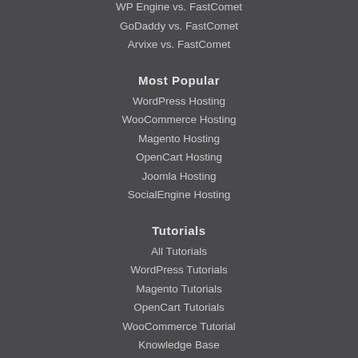WP Engine vs. FastComet
GoDaddy vs. FastComet
Arvixe vs. FastComet
Most Popular
WordPress Hosting
WooCommerce Hosting
Magento Hosting
OpenCart Hosting
Joomla Hosting
SocialEngine Hosting
Tutorials
All Tutorials
WordPress Tutorials
Magento Tutorials
OpenCart Tutorials
WooCommerce Tutorial
Knowledge Base